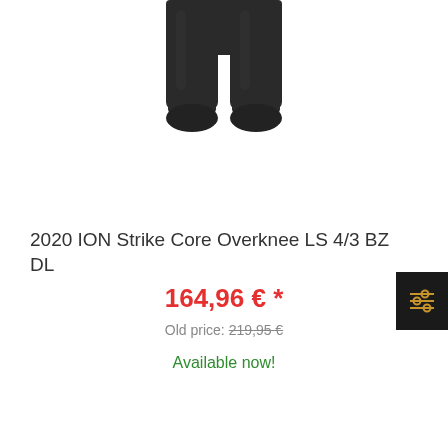[Figure (photo): Bottom portion of a dark/black wetsuit (overknee style) shown on a white background, cropped at the top of the image showing legs and feet area.]
2020 ION Strike Core Overknee LS 4/3 BZ DL
164,96 € *
Old price: 219,95 €
Available now!
[Figure (other): Dark button/icon with golden/yellow equalizer/filter sliders icon]